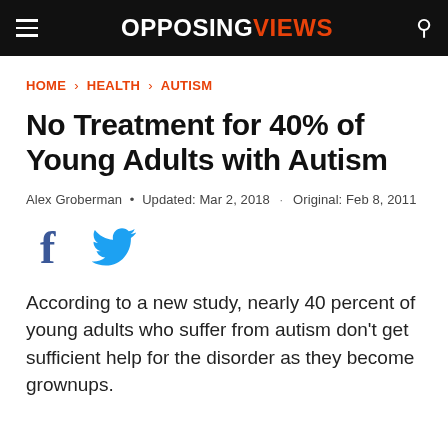OPPOSING VIEWS
HOME › HEALTH › AUTISM
No Treatment for 40% of Young Adults with Autism
Alex Groberman • Updated: Mar 2, 2018 · Original: Feb 8, 2011
[Figure (other): Social share icons: Facebook and Twitter]
According to a new study, nearly 40 percent of young adults who suffer from autism don't get sufficient help for the disorder as they become grownups.